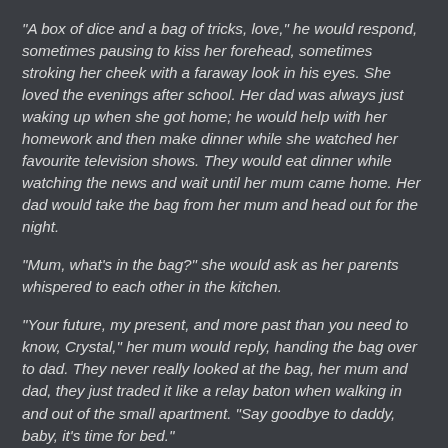"A box of dice and a bag of tricks, love," he would respond, sometimes pausing to kiss her forehead, sometimes stroking her cheek with a faraway look in his eyes. She loved the evenings after school. Her dad was always just waking up when she got home; he would help with her homework and then make dinner while she watched her favourite television shows. They would eat dinner while watching the news and wait until her mum came home. Her dad would take the bag from her mum and head out for the night.
"Mum, what's in the bag?" she would ask as her parents whispered to each other in the kitchen.
"Your future, my present, and more past than you need to know, Crystal," her mum would reply, handing the bag over to dad. They never really looked at the bag, her mum and dad, they just traded it like a relay baton when walking in and out of the small apartment. "Say goodbye to daddy, baby, it's time for bed."
"Goodnight, Daddy. I love you, will you show me a trick soon?"